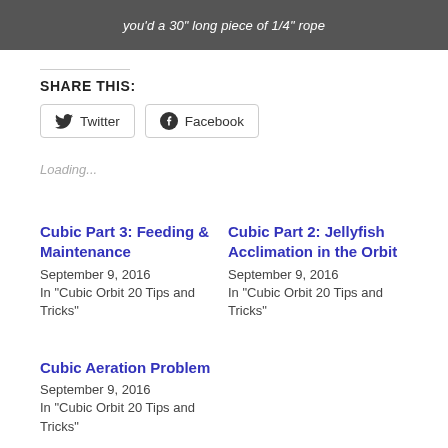[Figure (photo): Dark banner image with white italic text reading: 'you'd a 30" long piece of 1/4" rope']
SHARE THIS:
Twitter
Facebook
Loading...
Cubic Part 3: Feeding & Maintenance
September 9, 2016
In "Cubic Orbit 20 Tips and Tricks"
Cubic Part 2: Jellyfish Acclimation in the Orbit
September 9, 2016
In "Cubic Orbit 20 Tips and Tricks"
Cubic Aeration Problem
September 9, 2016
In "Cubic Orbit 20 Tips and Tricks"